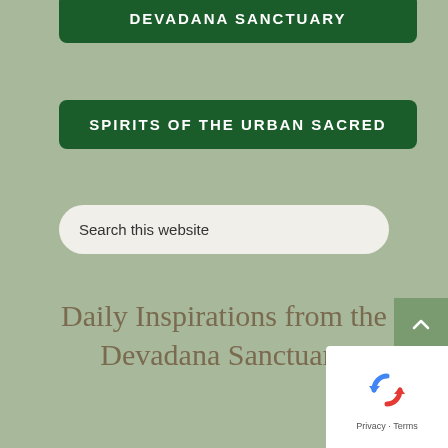DEVADANA SANCTUARY
SPIRITS OF THE URBAN SACRED
Search this website
Daily Inspirations from the Devadana Sanctuary
[Figure (screenshot): reCAPTCHA badge with Privacy and Terms links]